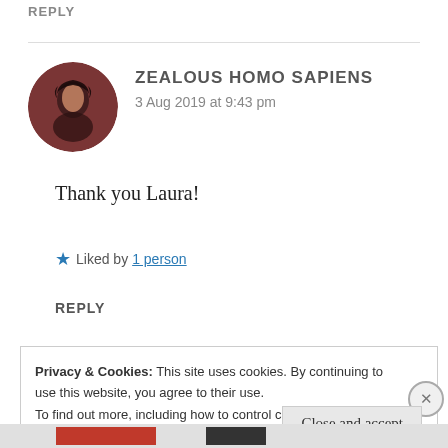REPLY
[Figure (photo): Circular avatar photo of a person with dark hair against a reddish-brown background]
ZEALOUS HOMO SAPIENS
3 Aug 2019 at 9:43 pm
Thank you Laura!
★ Liked by 1 person
REPLY
Privacy & Cookies: This site uses cookies. By continuing to use this website, you agree to their use.
To find out more, including how to control cookies, see here: Cookie Policy
Close and accept